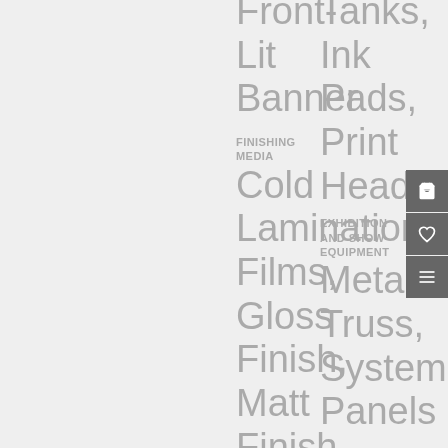Front-Lit Banner
FINISHING MEDIA
Cold Lamination Films, Gloss Finish, Matt Finish, Satin Finish, Ultra-Clear
Tanks, Ink Pads, Print Heads
EXHIBITION AND SHOW EQUIPMENT
Metal Truss, System Panels